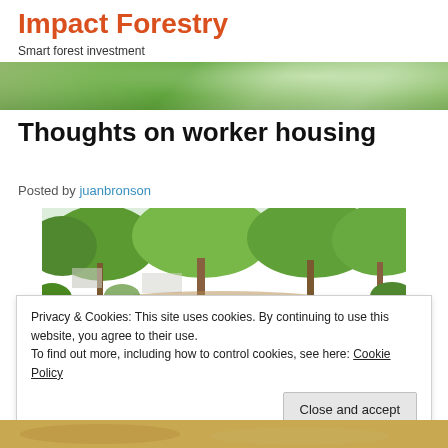Impact Forestry
Smart forest investment
Thoughts on worker housing
Posted by juanbronson
[Figure (photo): Outdoor photo showing trees and vegetation with a dirt path, appears to be in a tropical or subtropical region with lush green foliage.]
Privacy & Cookies: This site uses cookies. By continuing to use this website, you agree to their use.
To find out more, including how to control cookies, see here: Cookie Policy
[Close and accept button]
[Figure (photo): Bottom portion of another outdoor photo, appearing sandy/earthy in color.]